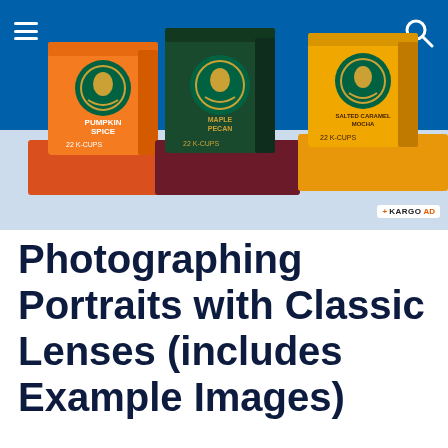[Figure (advertisement): Starbucks K-Cup coffee pods advertisement banner showing three product boxes: Pumpkin Spice, Maple Pecan, and Salted Caramel Mocha. Blue background at top, light blue-gray background below. Features hamburger menu icon, search icon, and Kargo Ad badge. Labeled as a Kargo ad.]
Photographing Portraits with Classic Lenses (includes Example Images)